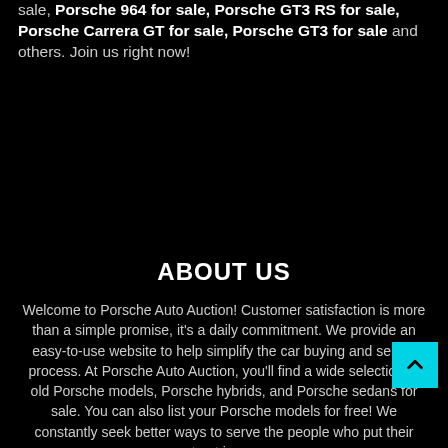sale, Porsche 964 for sale, Porsche GT3 RS for sale, Porsche Carrera GT for sale, Porsche GT3 for sale and others. Join us right now!
ABOUT US
Welcome to Porsche Auto Auction! Customer satisfaction is more than a simple promise, it's a daily commitment. We provide an easy-to-use website to help simplify the car buying and selling process. At Porsche Auto Auction, you'll find a wide selection of old Porsche models, Porsche hybrids, and Porsche sedans for sale. You can also list your Porsche models for free! We constantly seek better ways to serve the people who put their trust in us.